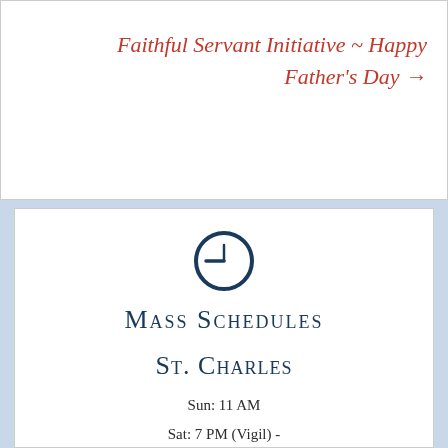Faithful Servant Initiative ~ Happy Father's Day →
[Figure (illustration): Clock icon — dark navy blue circle outline with clock hands showing approximately 9:45]
Mass Schedules
St. Charles
Sun: 11 AM
Sat: 7 PM (Vigil) -
Mon: No Mass (9 AM Morning Prayer)
Wed: 9:00 AM (Adoration with Exposition following Mass until 9 pm) (2nd Wednesday of the even months Mass will